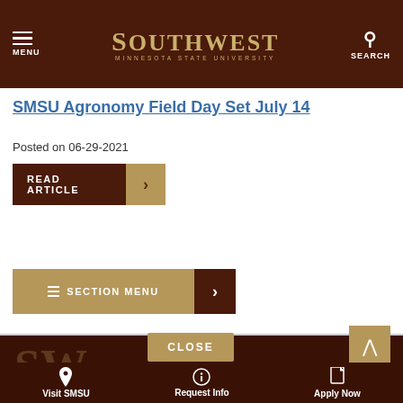MENU | SOUTHWEST Minnesota State University | SEARCH
SMSU Agronomy Field Day Set July 14
Posted on 06-29-2021
READ ARTICLE
SECTION MENU
CLOSE
Visit SMSU | Request Info | Apply Now